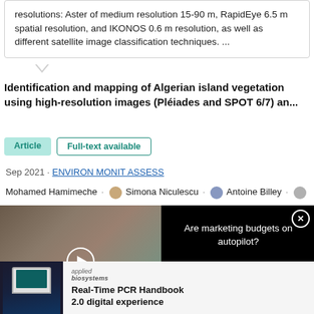resolutions: Aster of medium resolution 15-90 m, RapidEye 6.5 m spatial resolution, and IKONOS 0.6 m resolution, as well as different satellite image classification techniques. ...
Identification and mapping of Algerian island vegetation using high-resolution images (Pléiades and SPOT 6/7) an...
Article   Full-text available
Sep 2021 · ENVIRON MONIT ASSESS
Mohamed Hamimeche · Simona Niculescu · Antoine Billey · Riadh Moulaï
[Figure (screenshot): Video advertisement overlay showing 'Are marketing budgets on autopilot?' with a thumbnail of a business meeting and a play button]
[Figure (screenshot): Bottom advertisement for 'Real-Time PCR Handbook 2.0 digital experience' by Applied Biosystems, showing a laptop]